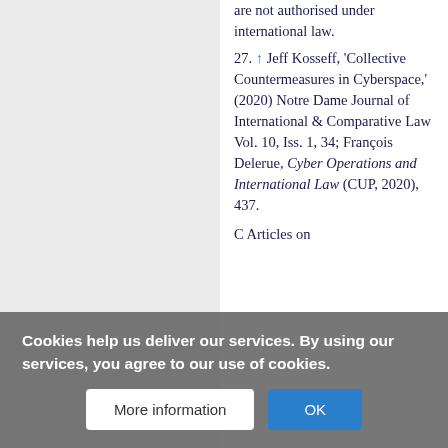are not authorised under international law.
27. ↑ Jeff Kosseff, 'Collective Countermeasures in Cyberspace,' (2020) Notre Dame Journal of International & Comparative Law Vol. 10, Iss. 1, 34; François Delerue, Cyber Operations and International Law (CUP, 2020), 437.
C Articles on
Cookies help us deliver our services. By using our services, you agree to our use of cookies.